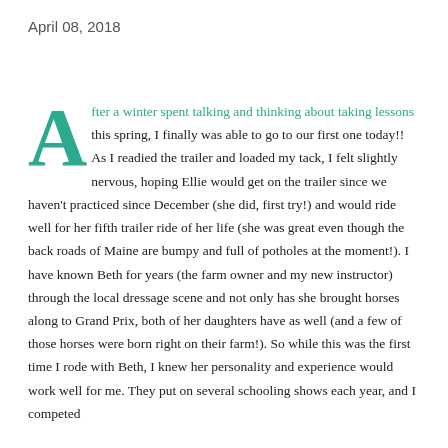April 08, 2018
After a winter spent talking and thinking about taking lessons this spring, I finally was able to go to our first one today!! As I readied the trailer and loaded my tack, I felt slightly nervous, hoping Ellie would get on the trailer since we haven't practiced since December (she did, first try!) and would ride well for her fifth trailer ride of her life (she was great even though the back roads of Maine are bumpy and full of potholes at the moment!).  I have known Beth for years (the farm owner and my new instructor) through the local dressage scene and not only has she brought horses along to Grand Prix, both of her daughters have as well (and a few of those horses were born right on their farm!).  So while this was the first time I rode with Beth, I knew her personality and experience would work well for me.  They put on several schooling shows each year, and I competed